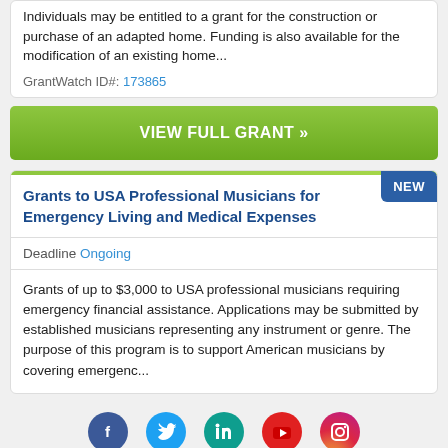Individuals may be entitled to a grant for the construction or purchase of an adapted home. Funding is also available for the modification of an existing home...
GrantWatch ID#: 173865
VIEW FULL GRANT »
Grants to USA Professional Musicians for Emergency Living and Medical Expenses
Deadline Ongoing
Grants of up to $3,000 to USA professional musicians requiring emergency financial assistance. Applications may be submitted by established musicians representing any instrument or genre. The purpose of this program is to support American musicians by covering emergenc...
[Figure (other): Social media icons: Facebook, Twitter, LinkedIn, YouTube, Instagram]